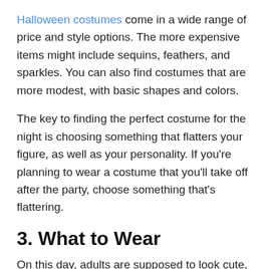Halloween costumes come in a wide range of price and style options. The more expensive items might include sequins, feathers, and sparkles. You can also find costumes that are more modest, with basic shapes and colors.
The key to finding the perfect costume for the night is choosing something that flatters your figure, as well as your personality. If you're planning to wear a costume that you'll take off after the party, choose something that's flattering.
3. What to Wear
On this day, adults are supposed to look cute, and there are plenty of ways to do it without breaking the bank. This includes wearing cute halloween pajamas and fancy, fashionable attire that screams "I'm a grown up!" We're talking something a little different than you wear to the office. We're talking something that makes you feel confident, and a bit flirty.